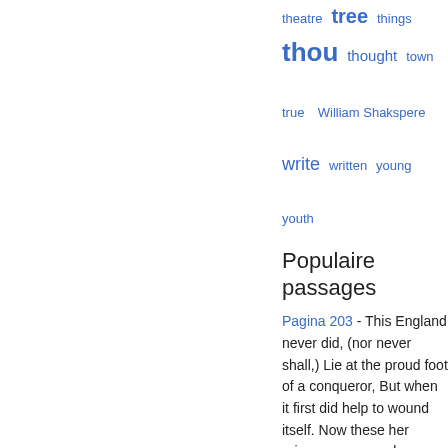[Figure (other): Word cloud with terms: theatre, thee, things, thou, thought, town, true, William Shakspere, write, written, young, youth — displayed in blue, varying sizes]
Populaire passages
Pagina 203 - This England never did, (nor never shall,) Lie at the proud foot of a conqueror, But when it first did help to wound itself. Now these her princes are come home again, Come the three corners of the world in arms, And we shall shock them : Nought